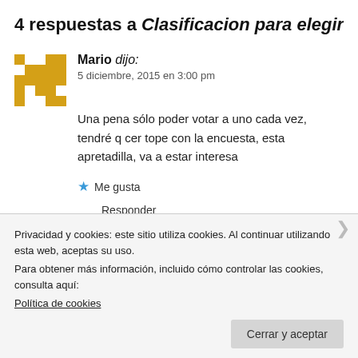4 respuestas a Clasificacion para elegir al m
Mario dijo:
5 diciembre, 2015 en 3:00 pm
Una pena sólo poder votar a uno cada vez, tendré q cer tope con la encuesta, esta apretadilla, va a estar interesa
Me gusta
Responder
Privacidad y cookies: este sitio utiliza cookies. Al continuar utilizando esta web, aceptas su uso.
Para obtener más información, incluido cómo controlar las cookies, consulta aquí:
Política de cookies
Cerrar y aceptar